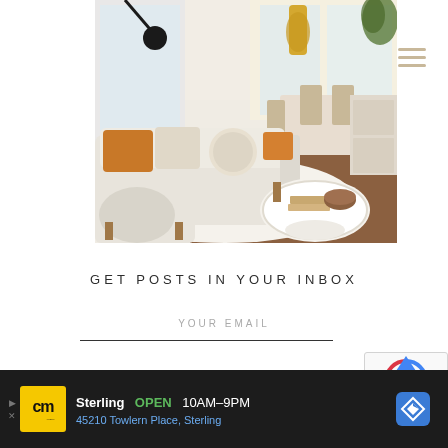[Figure (photo): Interior room photo showing a bright living room with a cream/white sectional sofa with orange and neutral pillows, a round white coffee table with books and a woven bowl, a fuzzy white rug with dark abstract markings, wooden floors visible in background, a dining table with chairs, and a black floor lamp. Large windows let in bright natural light.]
GET POSTS IN YOUR INBOX
YOUR EMAIL
[Figure (infographic): Advertisement bar at bottom: CM (Craft Makers) store logo in yellow, Sterling store listing showing OPEN 10AM-9PM, address 45210 Towlern Place, Sterling, with blue navigation arrow icon on right side]